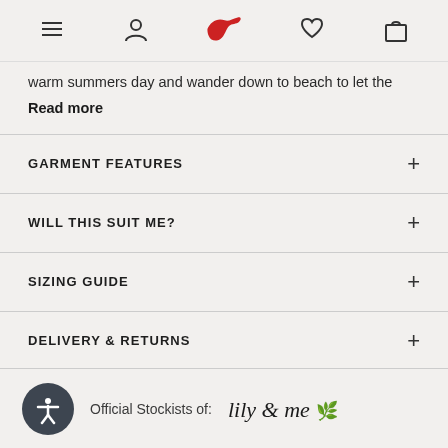Navigation bar with menu, account, bird logo, wishlist, and cart icons
warm summers day and wander down to beach to let the
Read more
GARMENT FEATURES
WILL THIS SUIT ME?
SIZING GUIDE
DELIVERY & RETURNS
Official Stockists of: lily & me